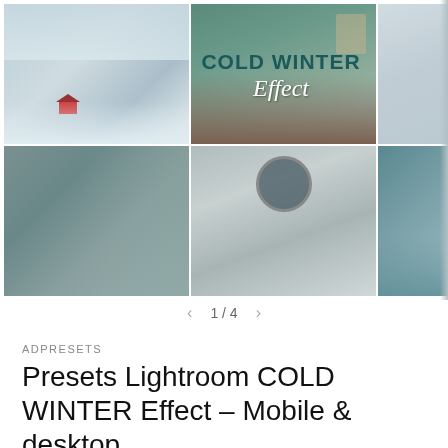[Figure (photo): Collage of 6 winter photography images arranged in a 3x2 grid. Top row: snowy lake with red cabin, cozy cabin interior with snow outside, snow-covered pine forest. Bottom row: person looking out a window at snowy trees, person in grey hoodie holding a camera in front of their face, turquoise mountain lake with snowy peaks. Overlaid title text reads 'COLD WINTER Effect' in bold teal and white italic lettering.]
1 / 4
ADPRESETS
Presets Lightroom COLD WINTER Effect - Mobile & desktop